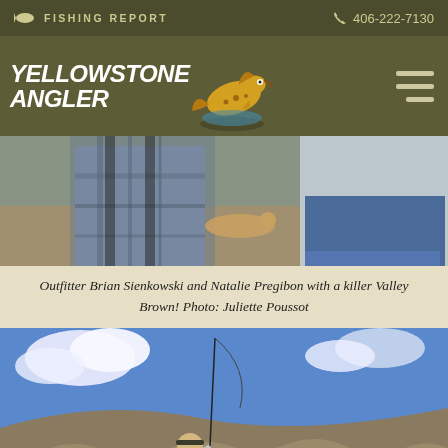FISHING REPORT   406-222-7130
[Figure (logo): Yellowstone Angler logo with fish jumping and text]
[Figure (photo): Two people standing outdoors, showing off a brown trout caught in the valley]
Outfitter Brian Sienkowski and Natalie Pregibon with a killer Valley Brown! Photo: Juliette Poussot
[Figure (photo): Angler crouching on rocky hillside under blue sky, holding fishing rod]